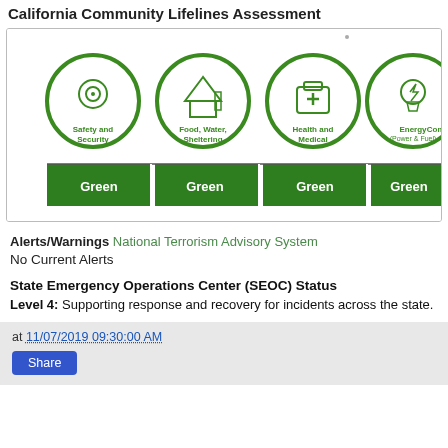California Community Lifelines Assessment
[Figure (infographic): Community Lifelines Assessment infographic showing circular icons for Safety and Security, Food Water Sheltering, Health and Medical, Energy (Power & Fuel), Communications — each labeled Green in a dark green bar below.]
Alerts/Warnings National Terrorism Advisory System
No Current Alerts
State Emergency Operations Center (SEOC) Status
Level 4: Supporting response and recovery for incidents across the state.
at 11/07/2019 09:30:00 AM
Share